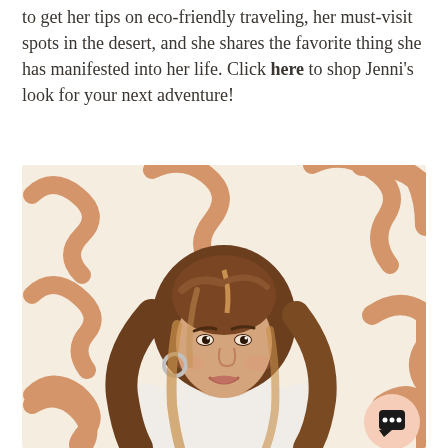to get her tips on eco-friendly traveling, her must-visit spots in the desert, and she shares the favorite thing she has manifested into her life. Click here to shop Jenni's look for your next adventure!
[Figure (photo): A young woman with long wavy brown-to-blonde ombre hair, wearing a white short-sleeve top, sitting against a white wall with large abstract tan/caramel brushstroke squiggle shapes painted on it. She is smiling and wearing silver hoop earrings. A chat bubble icon appears in the lower right corner of the image.]